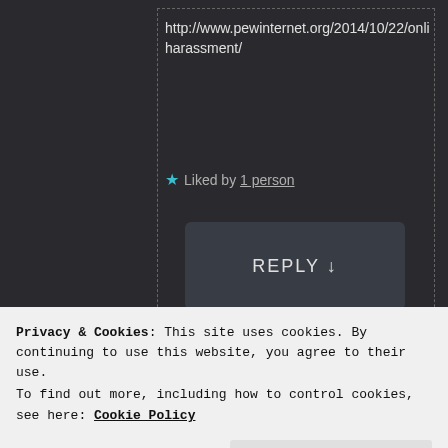http://www.pewinternet.org/2014/10/22/online-harassment/
★ Liked by 1 person
REPLY ↓
[Figure (screenshot): Small avatar thumbnail of a cat or animal]
stacilyc
Privacy & Cookies: This site uses cookies. By continuing to use this website, you agree to their use.
To find out more, including how to control cookies, see here: Cookie Policy
Close and accept